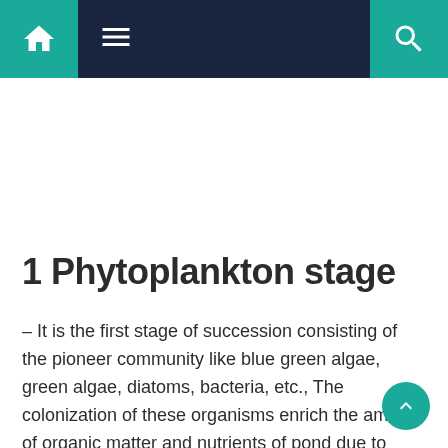Navigation bar with home icon, menu icon, and search icon
1 Phytoplankton stage
– It is the first stage of succession consisting of the pioneer community like blue green algae, green algae, diatoms, bacteria, etc., The colonization of these organisms enrich the amount of organic matter and nutrients of pond due to their life activities and death. This favors the development of